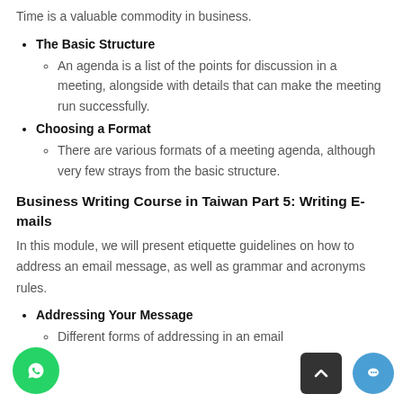Time is a valuable commodity in business.
The Basic Structure
An agenda is a list of the points for discussion in a meeting, alongside with details that can make the meeting run successfully.
Choosing a Format
There are various formats of a meeting agenda, although very few strays from the basic structure.
Business Writing Course in Taiwan Part 5: Writing E-mails
In this module, we will present etiquette guidelines on how to address an email message, as well as grammar and acronyms rules.
Addressing Your Message
Different forms of addressing in an email